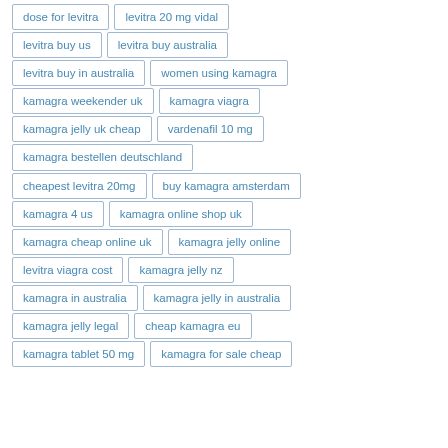dose for levitra
levitra 20 mg vidal
levitra buy us
levitra buy australia
levitra buy in australia
women using kamagra
kamagra weekender uk
kamagra viagra
kamagra jelly uk cheap
vardenafil 10 mg
kamagra bestellen deutschland
cheapest levitra 20mg
buy kamagra amsterdam
kamagra 4 us
kamagra online shop uk
kamagra cheap online uk
kamagra jelly online
levitra viagra cost
kamagra jelly nz
kamagra in australia
kamagra jelly in australia
kamagra jelly legal
cheap kamagra eu
kamagra tablet 50 mg
kamagra for sale cheap